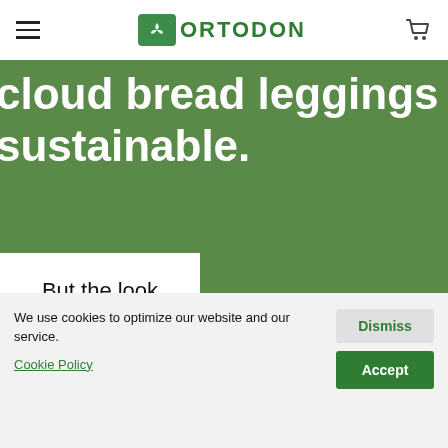ORTODON
[Figure (screenshot): Website hero section with green background and white text reading 'cloud bread leggings sustainable.' with a white card overlay showing 'But the look']
We use cookies to optimize our website and our service.
Cookie Policy
Dismiss
Accept